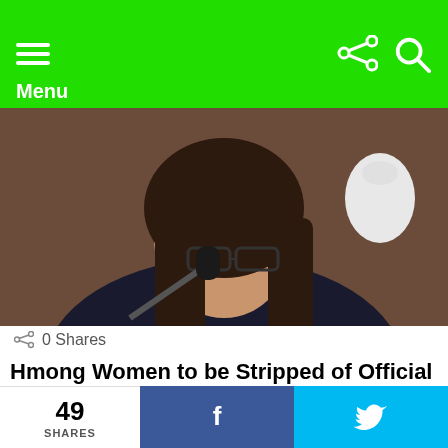Menu
[Figure (photo): Woman with glasses and long dark hair speaking into a microphone, wearing a black jacket, indoors.]
0 Shares
Hmong Women to be Stripped of Official Titles
by Zaub Qaub
7 years ago
49 SHARES  f  Twitter bird icon